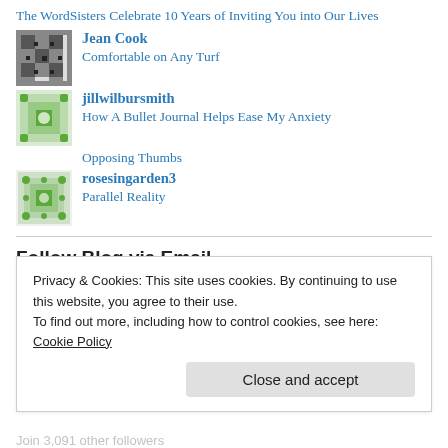The WordSisters Celebrate 10 Years of Inviting You into Our Lives
Jean Cook
Comfortable on Any Turf
jillwilbursmith
How A Bullet Journal Helps Ease My Anxiety
Opposing Thumbs
rosesingarden3
Parallel Reality
Follow Blog via Email
Enter your email address to follow this blog and receive notifications of new posts by email.
Privacy & Cookies: This site uses cookies. By continuing to use this website, you agree to their use.
To find out more, including how to control cookies, see here: Cookie Policy
Close and accept
Join 3,091 other followers